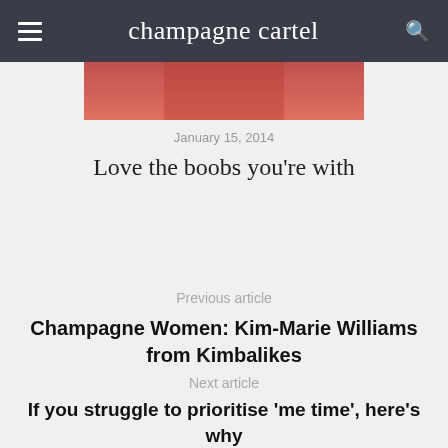champagne cartel
[Figure (photo): Partial image showing a red garment or fabric, cropped at top]
January 15, 2014
Love the boobs you're with
Previous article
Champagne Women: Kim-Marie Williams from Kimbalikes
Next article
If you struggle to prioritise 'me time', here's why